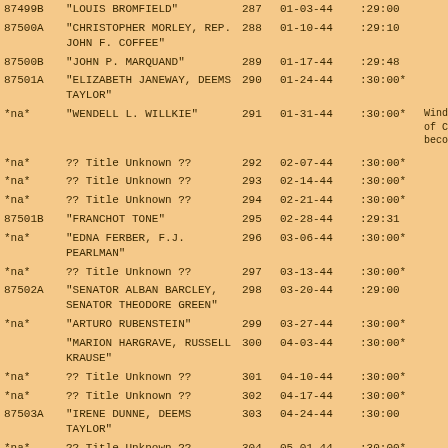| ID | Title | Num | Date | Duration | Notes |
| --- | --- | --- | --- | --- | --- |
| 87499B | "LOUIS BROMFIELD" | 287 | 01-03-44 | :29:00 |  |
| 87500A | "CHRISTOPHER MORLEY, REP. JOHN F. COFFEE" | 288 | 01-10-44 | :29:10 |  |
| 87500B | "JOHN P. MARQUAND" | 289 | 01-17-44 | :29:48 |  |
| 87501A | "ELIZABETH JANEWAY, DEEMS TAYLOR" | 290 | 01-24-44 | :30:00* |  |
| *na* | "WENDELL L. WILLKIE" | 291 | 01-31-44 | :30:00* | Windell W. of Ceremo becomes a |
| *na* | ?? Title Unknown ?? | 292 | 02-07-44 | :30:00* |  |
| *na* | ?? Title Unknown ?? | 293 | 02-14-44 | :30:00* |  |
| *na* | ?? Title Unknown ?? | 294 | 02-21-44 | :30:00* |  |
| 87501B | "FRANCHOT TONE" | 295 | 02-28-44 | :29:31 |  |
| *na* | "EDNA FERBER, F.J. PEARLMAN" | 296 | 03-06-44 | :30:00* |  |
| *na* | ?? Title Unknown ?? | 297 | 03-13-44 | :30:00* |  |
| 87502A | "SENATOR ALBAN BARCLEY, SENATOR THEODORE GREEN" | 298 | 03-20-44 | :29:00 |  |
| *na* | "ARTURO RUBENSTEIN" | 299 | 03-27-44 | :30:00* |  |
|  | "MARION HARGRAVE, RUSSELL KRAUSE" | 300 | 04-03-44 | :30:00* |  |
| *na* | ?? Title Unknown ?? | 301 | 04-10-44 | :30:00* |  |
| *na* | ?? Title Unknown ?? | 302 | 04-17-44 | :30:00* |  |
| 87503A | "IRENE DUNNE, DEEMS TAYLOR" | 303 | 04-24-44 | :30:00 |  |
| *na* | ?? Title Unknown ?? | 304 | 05-01-44 | :30:00* |  |